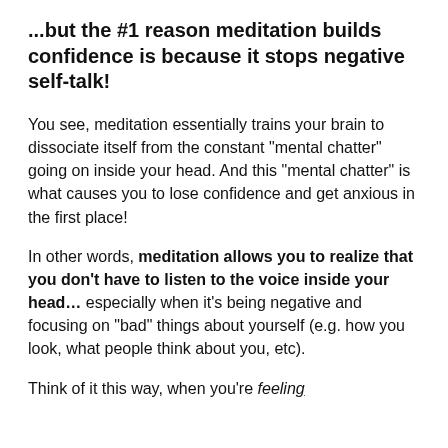...but the #1 reason meditation builds confidence is because it stops negative self-talk!
You see, meditation essentially trains your brain to dissociate itself from the constant “mental chatter” going on inside your head. And this “mental chatter” is what causes you to lose confidence and get anxious in the first place!
In other words, meditation allows you to realize that you don’t have to listen to the voice inside your head… especially when it’s being negative and focusing on “bad” things about yourself (e.g. how you look, what people think about you, etc).
Think of it this way, when you’re feeling...